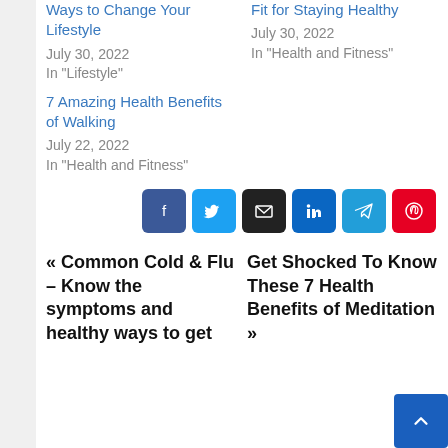Ways to Change Your Lifestyle
July 30, 2022
In "Lifestyle"
Fit for Staying Healthy
July 30, 2022
In "Health and Fitness"
7 Amazing Health Benefits of Walking
July 22, 2022
In "Health and Fitness"
[Figure (infographic): Social share buttons: Facebook, Twitter, Email, LinkedIn, Telegram, Pinterest]
« Common Cold & Flu – Know the symptoms and healthy ways to get
Get Shocked To Know These 7 Health Benefits of Meditation »